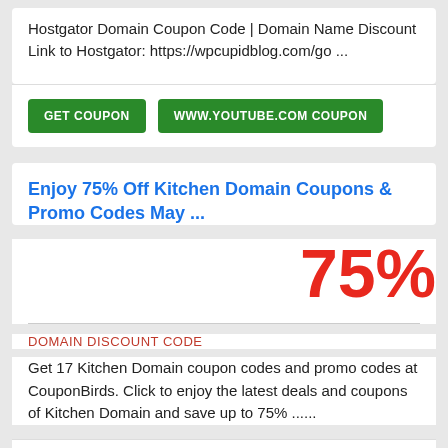Hostgator Domain Coupon Code | Domain Name Discount Link to Hostgator: https://wpcupidblog.com/go ...
GET COUPON   WWW.YOUTUBE.COM COUPON
Enjoy 75% Off Kitchen Domain Coupons & Promo Codes May ...
75%
DOMAIN DISCOUNT CODE
Get 17 Kitchen Domain coupon codes and promo codes at CouponBirds. Click to enjoy the latest deals and coupons of Kitchen Domain and save up to 75% ......
GET COUPON   WWW.COUPONBIRDS.COM COUPON